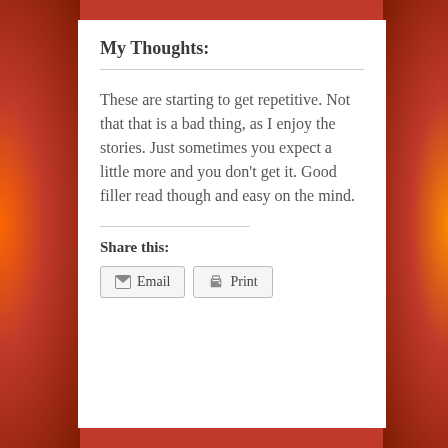My Thoughts:
These are starting to get repetitive. Not that that is a bad thing, as I enjoy the stories. Just sometimes you expect a little more and you don't get it. Good filler read though and easy on the mind.
Share this:
Email   Print